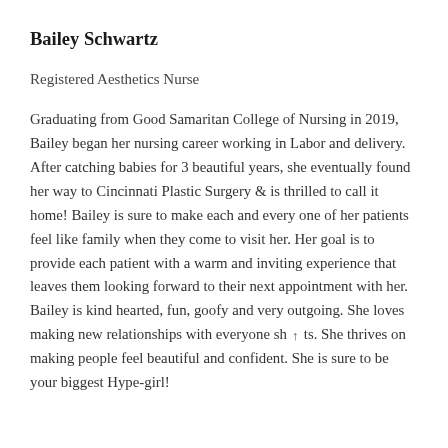Bailey Schwartz
Registered Aesthetics Nurse
Graduating from Good Samaritan College of Nursing in 2019, Bailey began her nursing career working in Labor and delivery. After catching babies for 3 beautiful years, she eventually found her way to Cincinnati Plastic Surgery & is thrilled to call it home! Bailey is sure to make each and every one of her patients feel like family when they come to visit her. Her goal is to provide each patient with a warm and inviting experience that leaves them looking forward to their next appointment with her. Bailey is kind hearted, fun, goofy and very outgoing. She loves making new relationships with everyone she meets. She thrives on making people feel beautiful and confident. She is sure to be your biggest Hype-girl!